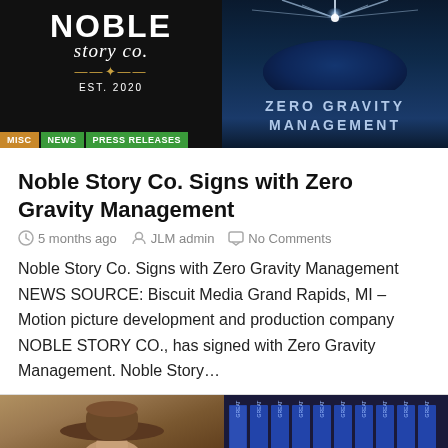[Figure (logo): Noble Story Co. logo on black background with MISC, NEWS, PRESS RELEASES tags]
[Figure (logo): Zero Gravity Management logo with planet and light rays on dark blue background]
Noble Story Co. Signs with Zero Gravity Management
5 months ago   JLM admin   No Comments
Noble Story Co. Signs with Zero Gravity Management NEWS SOURCE: Biscuit Media Grand Rapids, MI – Motion picture development and production company NOBLE STORY CO., has signed with Zero Gravity Management. Noble Story…
[Figure (photo): Person wearing a wide-brim brown hat on the left, bookshelf with blue books on the right]